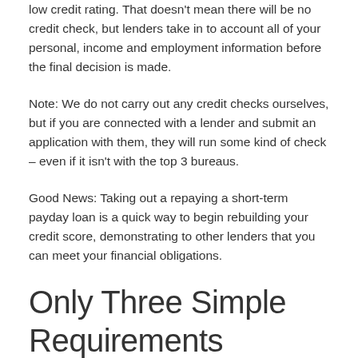low credit rating. That doesn't mean there will be no credit check, but lenders take in to account all of your personal, income and employment information before the final decision is made.
Note: We do not carry out any credit checks ourselves, but if you are connected with a lender and submit an application with them, they will run some kind of check – even if it isn't with the top 3 bureaus.
Good News: Taking out a repaying a short-term payday loan is a quick way to begin rebuilding your credit score, demonstrating to other lenders that you can meet your financial obligations.
Only Three Simple Requirements
Are you over the age of 18, living in Sunman, and are